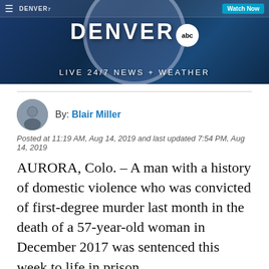[Figure (screenshot): Denver7 ABC news station banner with logo, circle graphic, 'LIVE 24/7 NEWS + WEATHER' tagline, hamburger menu, and Watch Now button]
By: Blair Miller
Posted at 11:19 AM, Aug 14, 2019 and last updated 7:54 PM, Aug 14, 2019
AURORA, Colo. – A man with a history of domestic violence who was convicted of first-degree murder last month in the death of a 57-year-old woman in December 2017 was sentenced this week to life in prison.